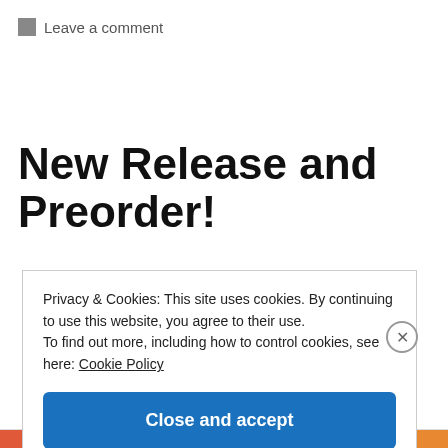Leave a comment
New Release and Preorder!
Privacy & Cookies: This site uses cookies. By continuing to use this website, you agree to their use.
To find out more, including how to control cookies, see here: Cookie Policy
Close and accept